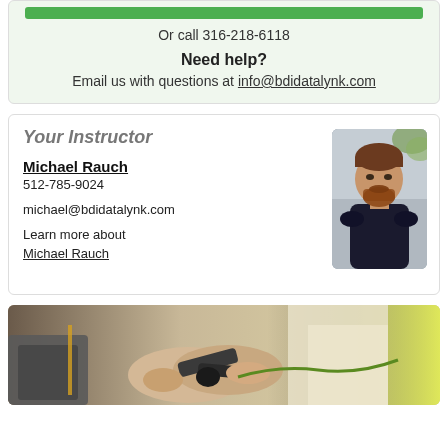Or call 316-218-6118
Need help?
Email us with questions at info@bdidatalynk.com
Your Instructor
Michael Rauch
512-785-9024
michael@bdidatalynk.com
Learn more about
Michael Rauch
[Figure (photo): Photo of instructor Michael Rauch, a bearded man in a dark polo shirt standing outdoors]
[Figure (photo): Close-up photo of hands using wire cutters or pliers on a cable]